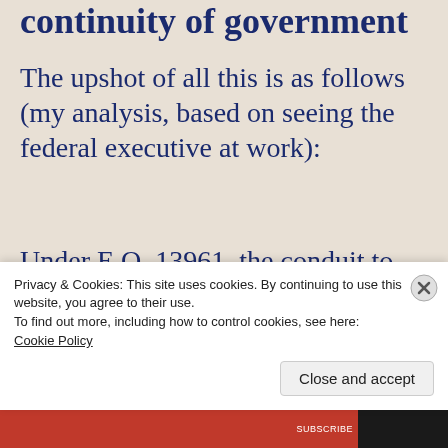continuity of government
The upshot of all this is as follows (my analysis, based on seeing the federal executive at work):
Under E.O. 13961, the conduit to POTUS during emergency execution is an official (Director
Privacy & Cookies: This site uses cookies. By continuing to use this website, you agree to their use.
To find out more, including how to control cookies, see here:
Cookie Policy
Close and accept